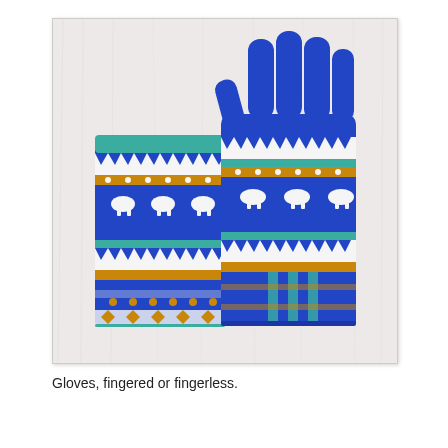[Figure (photo): Two fair isle knitted gloves on a white fur background. The left glove is fingerless (a mitten/mitt style showing the hand portion without fingers), and the right glove is a full fingered glove. Both feature colorwork patterns in blue, white, teal/turquoise, and mustard/gold yellow with decorative Nordic/fair isle motifs including deer or bird shapes and geometric designs.]
Gloves, fingered or fingerless.